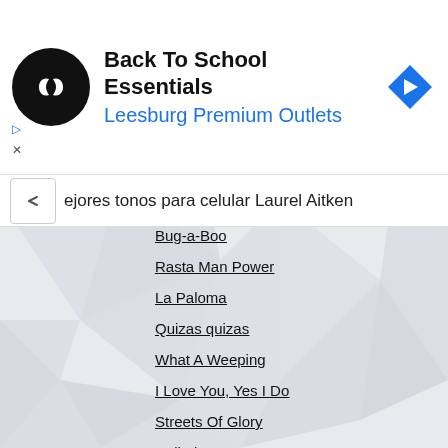[Figure (screenshot): Advertisement banner for 'Back To School Essentials' at Leesburg Premium Outlets, with circular black logo with white infinity-like symbol on left, blue navigation arrow icon on right, and ad indicator symbols (triangle and X) on far left.]
ejores tonos para celular Laurel Aitken
Bug-a-Boo
Rasta Man Power
La Paloma
Quizas quizas
What A Weeping
I Love You, Yes I Do
Streets Of Glory
Call The Doctor
Everybody Suffering
Lonesome Traveller
Skinhead